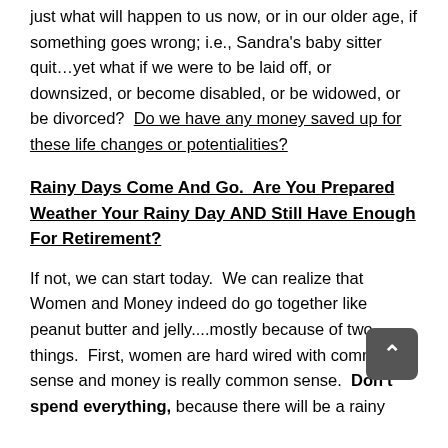just what will happen to us now, or in our older age, if something goes wrong; i.e., Sandra's baby sitter quit…yet what if we were to be laid off, or downsized, or become disabled, or be widowed, or be divorced?  Do we have any money saved up for these life changes or potentialities?
Rainy Days Come And Go.  Are You Prepared Weather Your Rainy Day AND Still Have Enough For Retirement?
If not, we can start today.  We can realize that Women and Money indeed do go together like peanut butter and jelly....mostly because of two things.  First, women are hard wired with common sense and money is really common sense.  Don't spend everything, because there will be a rainy